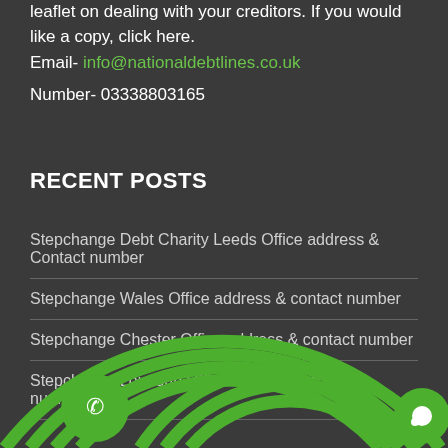leaflet on dealing with your creditors. If you would like a copy, click here.
Email- info@nationaldebtlines.co.uk
Number- 03338803165
RECENT POSTS
Stepchange Debt Charity Leeds Office address & Contact number
Stepchange Wales Office address & contact number
Stepchange Chester Office address & contact number
Stepchange Loudoun Office address & contact number
[Figure (illustration): Green concentric arc rings forming a decorative wave pattern at the bottom of the page, with a green circular phone button on the left and a green circular chat button on the right]